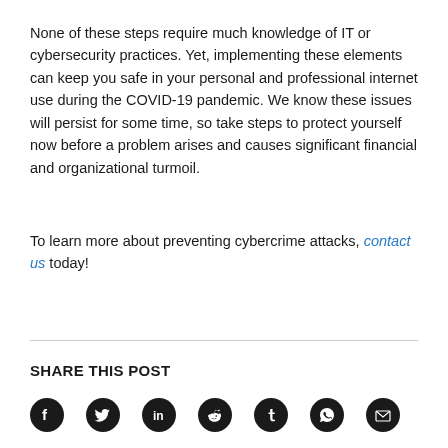None of these steps require much knowledge of IT or cybersecurity practices. Yet, implementing these elements can keep you safe in your personal and professional internet use during the COVID-19 pandemic. We know these issues will persist for some time, so take steps to protect yourself now before a problem arises and causes significant financial and organizational turmoil.
To learn more about preventing cybercrime attacks, contact us today!
SHARE THIS POST